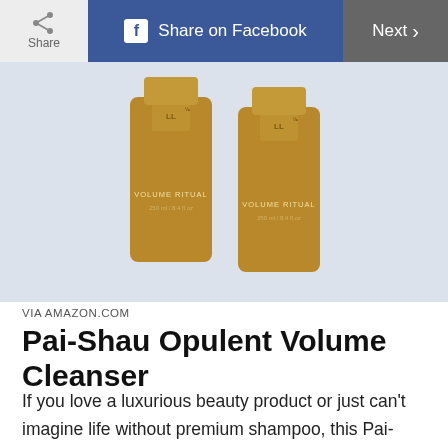Share | Share on Facebook | Next
[Figure (photo): Two gold bottles of Pai-Shau Opulent Volume Ritual shampoo/conditioner, 250ml / 8.4 fl oz each, on a light blue-gray background]
VIA AMAZON.COM
Pai-Shau Opulent Volume Cleanser
If you love a luxurious beauty product or just can't imagine life without premium shampoo, this Pai-Shau Opulent Volume Cleanser truly lives up to its name and makes a wonderful last-minute gift for her, thanks to quick Amazon Prime shipping. The tea-infused bundle cleans, promotes